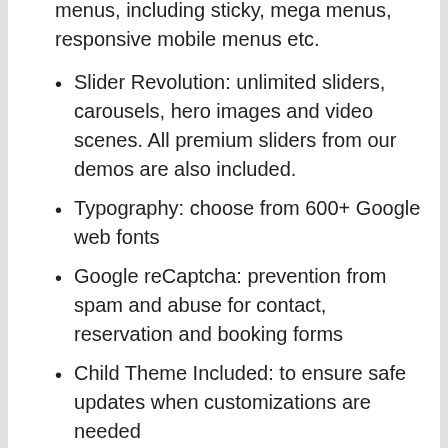Header Layout: with fully suitable menus, including sticky, mega menus, responsive mobile menus etc.
Slider Revolution: unlimited sliders, carousels, hero images and video scenes. All premium sliders from our demos are also included.
Typography: choose from 600+ Google web fonts
Google reCaptcha: prevention from spam and abuse for contact, reservation and booking forms
Child Theme Included: to ensure safe updates when customizations are needed
EU GDPR: smart tools to help you get compliant with the EU GDPR law
Crossbrowser compatible: looks great on all major browsers
Detailed documentation: and fast, friendly